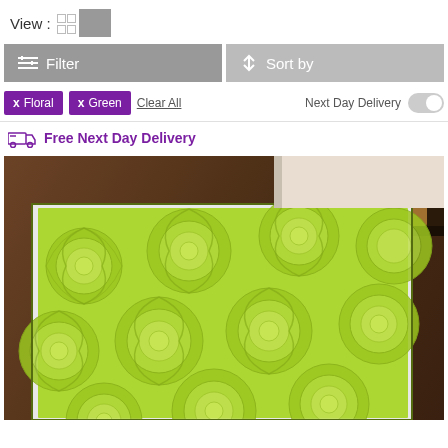View :
Filter
Sort by
X Floral   X Green   Clear All   Next Day Delivery
Free Next Day Delivery
[Figure (photo): Close-up photo of a green floral patterned rug with rose designs, placed on a dark wooden floor]